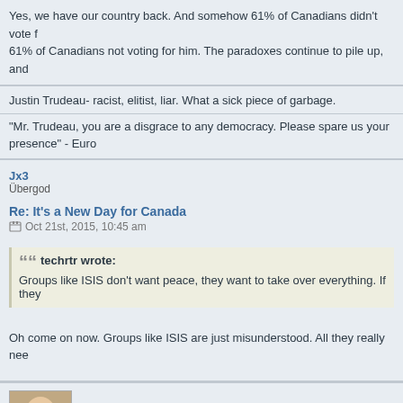Yes, we have our country back. And somehow 61% of Canadians didn't vote for him. The paradoxes continue to pile up, and 61% of Canadians not voting for him.
Justin Trudeau- racist, elitist, liar. What a sick piece of garbage.
"Mr. Trudeau, you are a disgrace to any democracy. Please spare us your presence" - Euro
Jx3
Übergod
Re: It's a New Day for Canada
Oct 21st, 2015, 10:45 am
techrtr wrote:
Groups like ISIS don't want peace, they want to take over everything. If they
Oh come on now. Groups like ISIS are just misunderstood. All they really nee
Poindexter
Guru
Re: It's a New Day for Canada